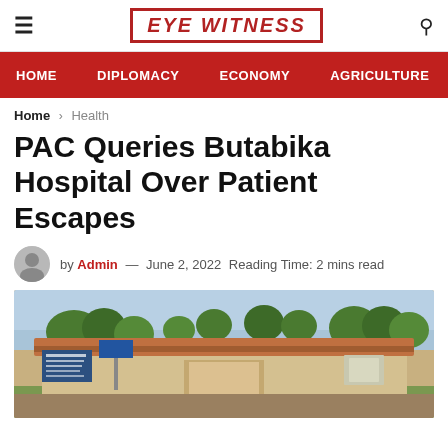EYE WITNESS
HOME  DIPLOMACY  ECONOMY  AGRICULTURE
Home > Health
PAC Queries Butabika Hospital Over Patient Escapes
by Admin — June 2, 2022  Reading Time: 2 mins read
[Figure (photo): Exterior photo of Butabika Hospital building with trees in the background, showing a building with an orange/terracotta tiled roof, white walls, and surrounding greenery.]